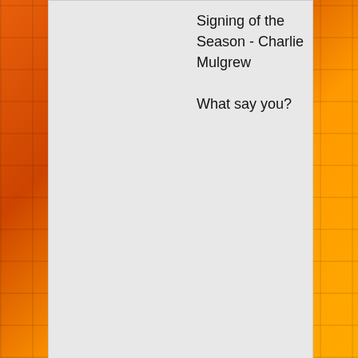Signing of the Season - Charlie Mulgrew

What say you?
15/5/2022 11:40 pm  #2
Tangy
Tekel Towers LEGEND
Offline

Registered: 25/3/2015
Posts: 1,521
Not bad shouts but feels harsh on Ross Graham to not get young or most improved.